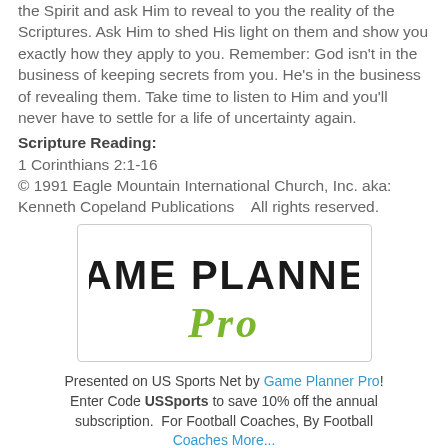the Spirit and ask Him to reveal to you the reality of the Scriptures. Ask Him to shed His light on them and show you exactly how they apply to you. Remember: God isn't in the business of keeping secrets from you. He's in the business of revealing them. Take time to listen to Him and you'll never have to settle for a life of uncertainty again.
Scripture Reading:
1 Corinthians 2:1-16
© 1991 Eagle Mountain International Church, Inc. aka: Kenneth Copeland Publications   All rights reserved.
[Figure (logo): Game Planner Pro logo with bold black text 'GAME PLANNER' and green italic script 'Pro' below]
Presented on US Sports Net by Game Planner Pro! Enter Code USSports to save 10% off the annual subscription.  For Football Coaches, By Football Coaches More...